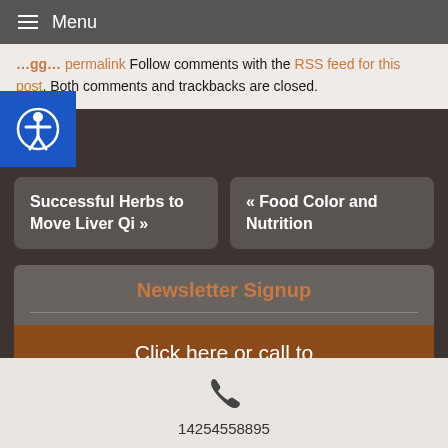Menu
Bookmark the permalink Follow comments with the RSS feed for this post Both comments and trackbacks are closed.
Successful Herbs to Move Liver Qi »
« Food Color and Nutrition
Newsletter Signup
Click here or call to
14254558895